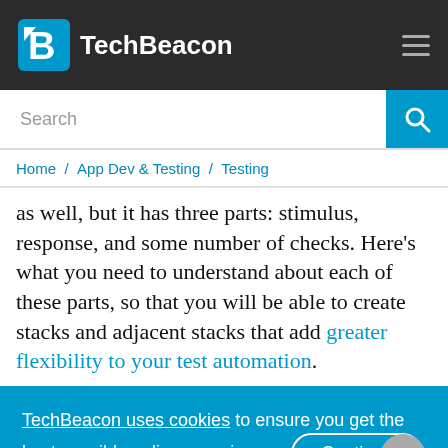TechBeacon
Home / App Dev & Testing / Testing
as well, but it has three parts: stimulus, response, and some number of checks. Here's what you need to understand about each of these parts, so that you will be able to create stacks and adjacent stacks that add greater flexibility to your test automation.
TechBeacon uses cookies to ensure you get the best possible online experience. Continue